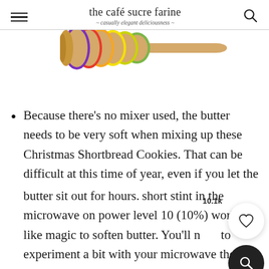the café sucre farine — casually elegant deliciousness
[Figure (photo): Colorful adjustable rolling pin with rainbow rings, partially visible at top of page]
Because there's no mixer used, the butter needs to be very soft when mixing up these Christmas Shortbread Cookies. That can be difficult at this time of year, even if you let the butter sit out for hours. A short stint in the microwave on power level 10 (10%) works like magic to soften butter. You'll need to experiment a bit with your microwave though, as they're all different. Start with 20 or 30-second increments at power level 10 until you learn how